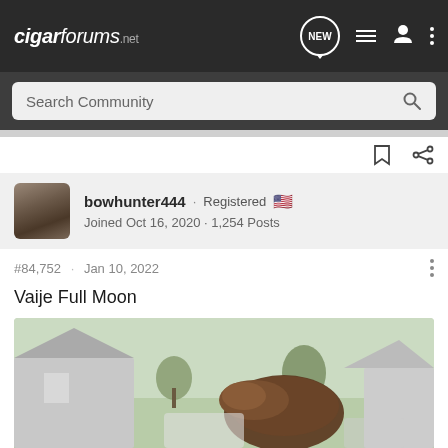cigarforums.net
Search Community
bowhunter444 · Registered
Joined Oct 16, 2020 · 1,254 Posts
#84,752 · Jan 10, 2022
Vaije Full Moon
[Figure (photo): Close-up photo of a cigar held up against a blurred suburban outdoor background with houses, trees, and grass visible.]